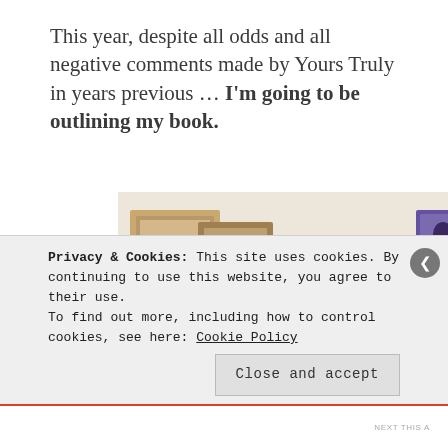This year, despite all odds and all negative comments made by Yours Truly in years previous … I'm going to be outlining my book.
[Figure (photo): A young Black man in a white shirt looking upward/sideways, with framed pictures and artwork hanging on a wall behind him in a room setting.]
Privacy & Cookies: This site uses cookies. By continuing to use this website, you agree to their use.
To find out more, including how to control cookies, see here: Cookie Policy
Close and accept